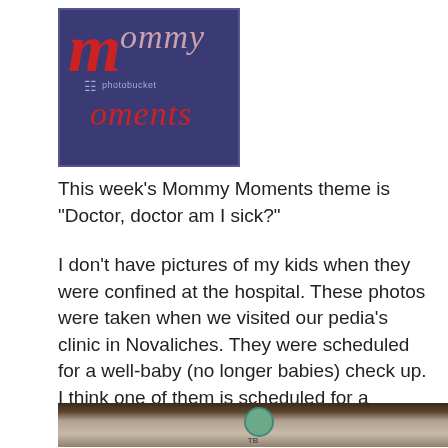[Figure (logo): Mommy Moments logo with red stylized M letters on dark blue/purple background, with 'mommy' and 'moments' text in italic, and photobucket watermark]
This week’s Mommy Moments theme is “Doctor, doctor am I sick?”
I don’t have pictures of my kids when they were confined at the hospital. These photos were taken when we visited our pedia’s clinic in Novaliches. They were scheduled for a well-baby (no longer babies) check up. I think one of them is scheduled for a vaccination that day.
[Figure (photo): Photo of a pediatric clinic interior in Novaliches, showing walls with posters and a clock, with dark wooden elements in foreground]